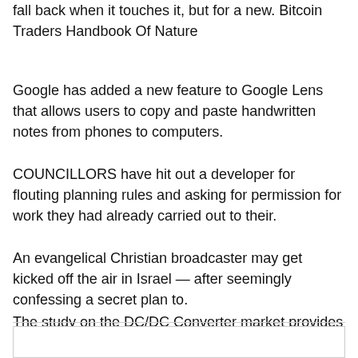fall back when it touches it, but for a new. Bitcoin Traders Handbook Of Nature
Google has added a new feature to Google Lens that allows users to copy and paste handwritten notes from phones to computers.
COUNCILLORS have hit out a developer for flouting planning rules and asking for permission for work they had already carried out to their.
An evangelical Christian broadcaster may get kicked off the air in Israel — after seemingly confessing a secret plan to.
The study on the DC/DC Converter market provides complete report on changing market trends for this market. It offers market size and share of each separate segment in the market. Many companies are.